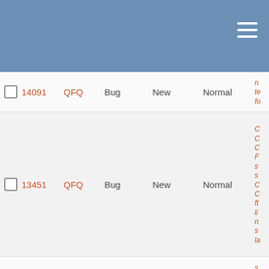|  | ID | Project | Type | Status | Priority |  |
| --- | --- | --- | --- | --- | --- | --- |
| ☐ | 14091 | QFQ | Bug | New | Normal | te
fo |
| ☐ | 13451 | QFQ | Bug | New | Normal | C
C
C
F
s
s
C
C
ft
li
n
s
la |
| ☐ | 13900 | QFQ | Feature | Priorize | Normal |  |
| ☐ | 10569 | QFQ | Feature | Priorize | Normal | s
la |
| ☐ | 13899 | QFQ | Bug | ToDo | Normal | F
e
s
F
(l
'c
& |